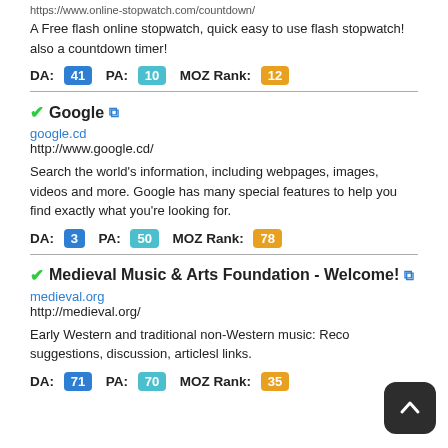https://www.online-stopwatch.com/countdown/
A Free flash online stopwatch, quick easy to use flash stopwatch! also a countdown timer!
DA: 41  PA: 10  MOZ Rank: 12
✔Google 🔗
google.cd
http://www.google.cd/
Search the world's information, including webpages, images, videos and more. Google has many special features to help you find exactly what you're looking for.
DA: 3  PA: 50  MOZ Rank: 78
✔Medieval Music & Arts Foundation - Welcome! 🔗
medieval.org
http://medieval.org/
Early Western and traditional non-Western music: Reco... suggestions, discussion, articlesl links.
DA: 71  PA: 70  MOZ Rank: 35